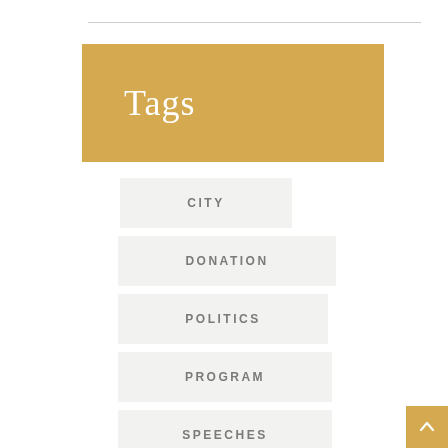Tags
CITY
DONATION
POLITICS
PROGRAM
SPEECHES
VOLUNTEER